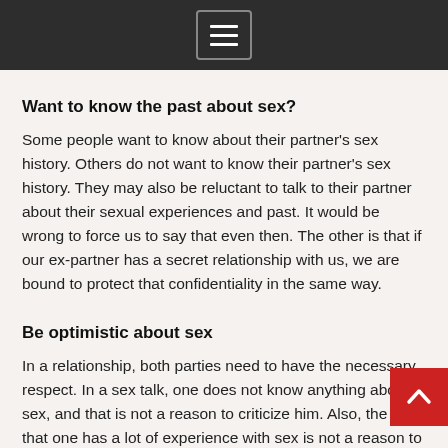Want to know the past about sex?
Some people want to know about their partner's sex history. Others do not want to know their partner's sex history. They may also be reluctant to talk to their partner about their sexual experiences and past. It would be wrong to force us to say that even then. The other is that if our ex-partner has a secret relationship with us, we are bound to protect that confidentiality in the same way.
Be optimistic about sex
In a relationship, both parties need to have the necessary respect. In a sex talk, one does not know anything about sex, and that is not a reason to criticize him. Also, the fact that one has a lot of experience with sex is not a reason to criticize him. If you find it difficult to deal with those things,